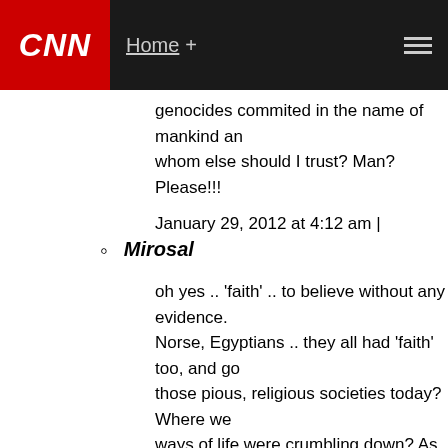CNN | Home +
genocides commited in the name of mankind and whom else should I trust? Man? Please!!!
January 29, 2012 at 4:12 am |
Mirosal
oh yes .. 'faith' .. to believe without any evidence. Norse, Egyptians .. they all had 'faith' too, and go those pious, religious societies today? Where we ways of life were crumbling down? As far as Wa you know are Atheists? And how many go to chu eschelon of Wall Street filled with hypocrites. "W Athiests of the past and the mass genocides com mankind and we want nothing of it. In whom else really need to show the historical records of the name of a 'god'? You talk of genocide. your own genocide be done. And you follow this deity!! I ca spinning with names like Stalin, Hitler, Pol Pot, M he'd lose power. His purges were purely politica in name with occasional Catholic Whil